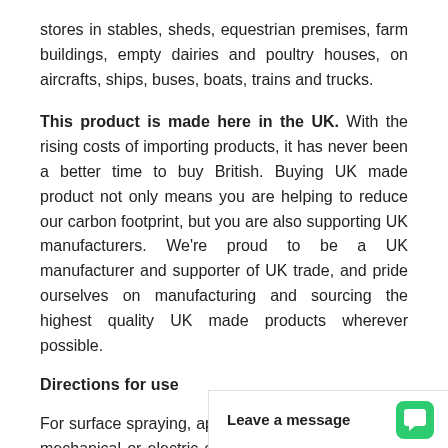stores in stables, sheds, equestrian premises, farm buildings, empty dairies and poultry houses, on aircrafts, ships, buses, boats, trains and trucks.
This product is made here in the UK. With the rising costs of importing products, it has never been a better time to buy British. Buying UK made product not only means you are helping to reduce our carbon footprint, but you are also supporting UK manufacturers. We're proud to be a UK manufacturer and supporter of UK trade, and pride ourselves on manufacturing and sourcing the highest quality UK made products wherever possible.
Directions for use
For surface spraying, apply through a suitable hand mechanical or electric sp... all infested areas giving s...